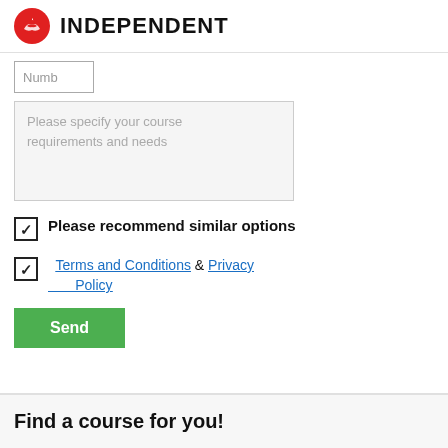INDEPENDENT
Numb
Please specify your course requirements and needs
Please recommend similar options
Terms and Conditions & Privacy Policy
Send
Find a course for you!